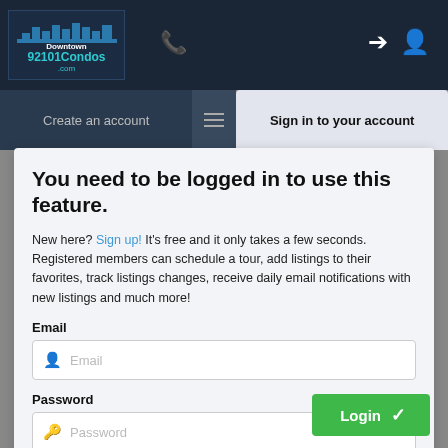[Figure (screenshot): Navigation bar with Downtown 92101Condos.com logo, phone icon, sign-in and profile icons on dark background]
Create an account
Sign in to your account
You need to be logged in to use this feature.
New here? Sign up! It's free and it only takes a few seconds. Registered members can schedule a tour, add listings to their favorites, track listings changes, receive daily email notifications with new listings and much more!
Email
Password
FORGOT YOUR PASSWORD?
Property sold
This condo was sold on 04/19/2022 for $760,000